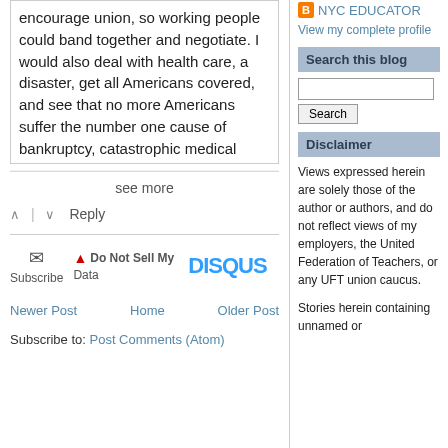encourage union, so working people could band together and negotiate. I would also deal with health care, a disaster, get all Americans covered, and see that no more Americans suffer the number one cause of bankruptcy, catastrophic medical
see more
Reply
Subscribe  Do Not Sell My Data  DISQUS
Newer Post  Home  Older Post
Subscribe to: Post Comments (Atom)
NYC EDUCATOR
View my complete profile
Search this blog
Disclaimer
Views expressed herein are solely those of the author or authors, and do not reflect views of my employers, the United Federation of Teachers, or any UFT union caucus.
Stories herein containing unnamed or